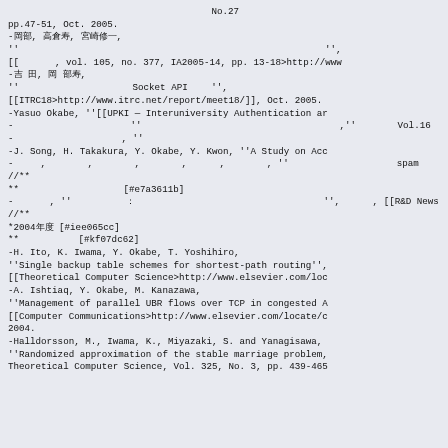No.27
pp.47-51, Oct. 2005.
-岡部, 高倉寿, 宮崎修一,
''　　　　　　　　　　　　　　　　　　　　　　　　　　　　　　　　　　'',
[[　　　　, vol. 105, no. 377, IA2005-14, pp. 13-18>http://www
-吉 田, 岡 部寿,
''　　　　　　　　　　　　 Socket API 　　'',
[[ITRC18>http://www.itrc.net/report/meet18/]], Oct. 2005.
-Yasuo Okabe, ''[[UPKI — Interuniversity Authentication ar
-　　　　　　　　　　　　　''　　　　　　　　　　　　　　　　　　　　　　,'' 　　　　Vol.16
-　　　　　　　　　　　　, '' 　　　　　　　　　　　　　　　　　　　　　　　　　　　　　　　
-J. Song, H. Takakura, Y. Okabe, Y. Kwon, ''A Study on Acc
-　　　, 　　　　, 　　　　, 　　　　, 　　　, 　　　　, ''　　　　　　　　　　　　spam
//**　　　　　　　　
**　　　　　　　　　　　 [#e7a3611b]
-　　　　, ''　　　　　　：　　　　　　　　　　　　　　　　　　　　　'', 　　　, [[R&D News
//**　　　　　　　　
*2004年度 [#iee065cc]
**　　　　　　 [#kf07dc62]
-H. Ito, K. Iwama, Y. Okabe, T. Yoshihiro,
''Single backup table schemes for shortest-path routing'',
[[Theoretical Computer Science>http://www.elsevier.com/loc
-A. Ishtiaq, Y. Okabe, M. Kanazawa,
''Management of parallel UBR flows over TCP in congested A
[[Computer Communications>http://www.elsevier.com/locate/c
2004.
-Halldorsson, M., Iwama, K., Miyazaki, S. and Yanagisawa,
''Randomized approximation of the stable marriage problem,
Theoretical Computer Science, Vol. 325, No. 3, pp. 439-465
///**
**　　　　　　　　　　　 [#e7a3611b]
*2004年度 [#iee065cc]
**　　　　　　 [#kf07dc62]